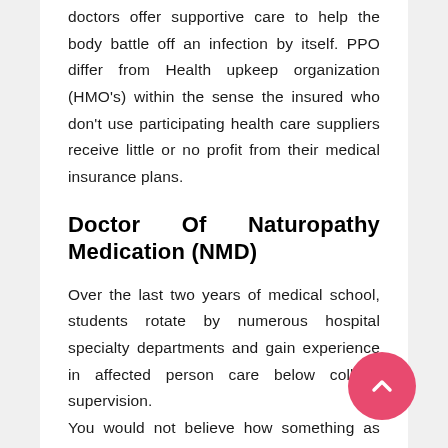doctors offer supportive care to help the body battle off an infection by itself. PPO differ from Health upkeep organization (HMO's) within the sense the insured who don't use participating health care suppliers receive little or no profit from their medical insurance plans.
Doctor Of Naturopathy Medication (NMD)
Over the last two years of medical school, students rotate by numerous hospital specialty departments and gain experience in affected person care below college supervision.
You would not believe how something as simple as making a doctor's appointment can have life altering effects. Reid Hospital & Well being Care Providers, Inc. Apparently, universities themselves